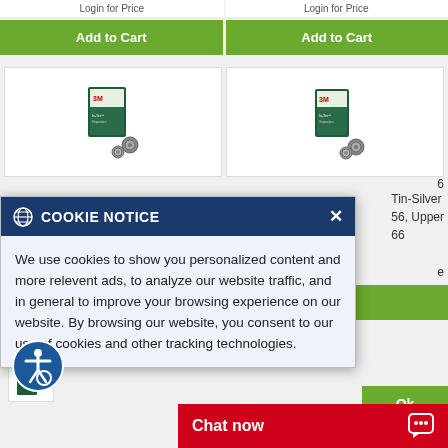Login for Price
Login for Price
Add to Cart
Add to Cart
[Figure (photo): Product image of 3M ESPE dental product box with accessories]
[Figure (photo): Product image of 3M ESPE dental product box with accessories]
6
Tin-Silver
56, Upper
66
e
COOKIE NOTICE
We use cookies to show you personalized content and more relevent ads, to analyze our website traffic, and in general to improve your browsing experience on our website. By browsing our website, you consent to our use of cookies and other tracking technologies.
Chat now